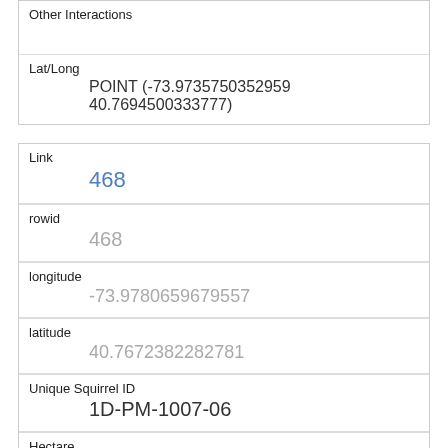| Other Interactions |  |
| Lat/Long | POINT (-73.9735750352959 40.769450033377​7) |
| Link | 468 |
| rowid | 468 |
| longitude | -73.9780659679557 |
| latitude | 40.7672382282781 |
| Unique Squirrel ID | 1D-PM-1007-06 |
| Hectare | 01D |
| Shift | PM |
| Date | 10072018 |